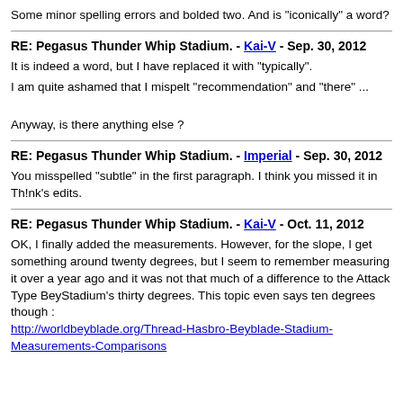Some minor spelling errors and bolded two. And is "iconically" a word?
RE: Pegasus Thunder Whip Stadium. - Kai-V - Sep. 30, 2012
It is indeed a word, but I have replaced it with "typically".
I am quite ashamed that I mispelt "recommendation" and "there" ...
Anyway, is there anything else ?
RE: Pegasus Thunder Whip Stadium. - Imperial - Sep. 30, 2012
You misspelled "subtle" in the first paragraph. I think you missed it in Th!nk's edits.
RE: Pegasus Thunder Whip Stadium. - Kai-V - Oct. 11, 2012
OK, I finally added the measurements. However, for the slope, I get something around twenty degrees, but I seem to remember measuring it over a year ago and it was not that much of a difference to the Attack Type BeyStadium's thirty degrees. This topic even says ten degrees though :
http://worldbeyblade.org/Thread-Hasbro-Beyblade-Stadium-Measurements-Comparisons